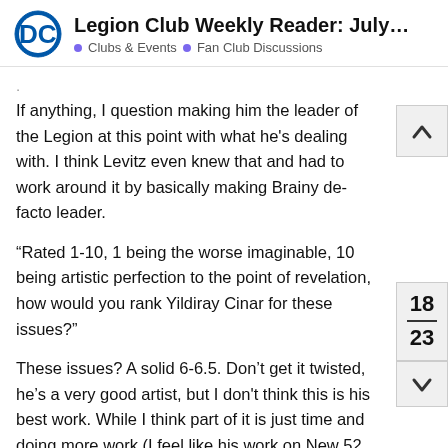Legion Club Weekly Reader: July 24th – J... • Clubs & Events • Fan Club Discussions
If anything, I question making him the leader of the Legion at this point with what he's dealing with. I think Levitz even knew that and had to work around it by basically making Brainy de-facto leader.
“Rated 1-10, 1 being the worse imaginable, 10 being artistic perfection to the point of revelation, how would you rank Yildiray Cinar for these issues?”
These issues? A solid 6-6.5. Don’t get it twisted, he’s a very good artist, but I don't think this is his best work. While I think part of it is just time and doing more work (I feel like his work on New 52 Supergirl is far better than this), a big part of it is the standard inking/coloring does not do his work justice. I mean, look at one of his pages here, and then look at this commission where he inks and,